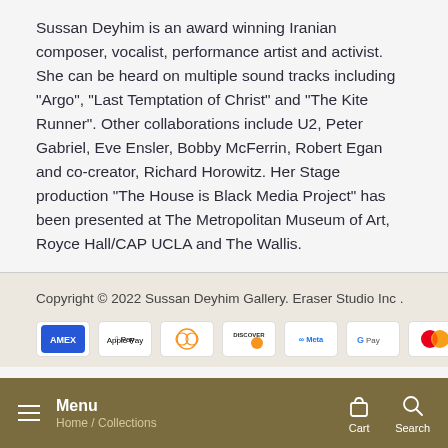Sussan Deyhim is an award winning Iranian composer, vocalist, performance artist and activist. She can be heard on multiple sound tracks including "Argo", "Last Temptation of Christ" and "The Kite Runner". Other collaborations include U2, Peter Gabriel, Eve Ensler, Bobby McFerrin, Robert Egan and co-creator, Richard Horowitz. Her Stage production "The House is Black Media Project" has been presented at The Metropolitan Museum of Art, Royce Hall/CAP UCLA and The Wallis.
Copyright © 2022 Sussan Deyhim Gallery. Eraser Studio Inc .
[Figure (other): Payment method icons: American Express, Apple Pay, Diners Club, Discover, Meta Pay, Google Pay, Mastercard, PayPal]
Menu | Home / Collections | Cart | Search